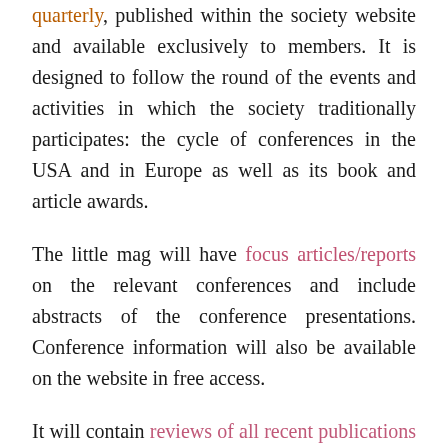quarterly, published within the society website and available exclusively to members. It is designed to follow the round of the events and activities in which the society traditionally participates: the cycle of conferences in the USA and in Europe as well as its book and article awards.
The little mag will have focus articles/reports on the relevant conferences and include abstracts of the conference presentations. Conference information will also be available on the website in free access.
It will contain reviews of all recent publications in Pound studies, including those that are not considered for the award (like conference proceedings, multiple contribution volumes, new editions of Pound's poetry, monographs in foreign languages, translations). Additionally the mag will